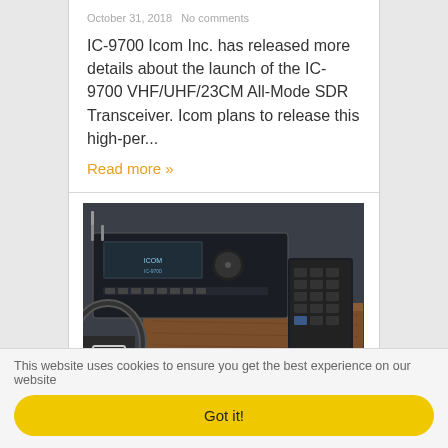October 31, 2018   No comments
IC-9700 Icom Inc. has released more details about the launch of the IC-9700 VHF/UHF/23CM All-Mode SDR Transceiver. Icom plans to release this high-per...
Read more »
[Figure (photo): Photo of Icom IC-9700 VHF/UHF/23CM All-Mode SDR Transceiver radio equipment mounted in a vehicle dashboard, with a remote keypad microphone.]
This website uses cookies to ensure you get the best experience on our website
Got it!